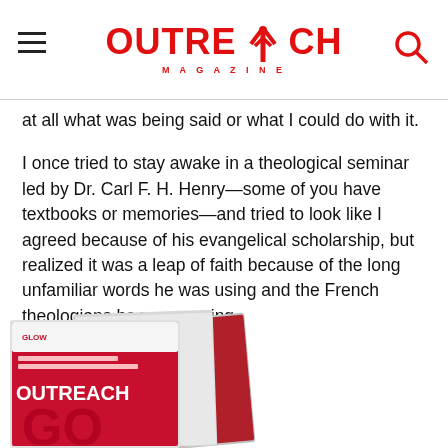Outreach Magazine
at all what was being said or what I could do with it.
I once tried to stay awake in a theological seminar led by Dr. Carl F. H. Henry—some of you have textbooks or memories—and tried to look like I agreed because of his evangelical scholarship, but realized it was a leap of faith because of the long unfamiliar words he was using and the French theologians he was quoting.
[Figure (photo): Stack of Outreach Magazine issues including covers with 'Outreach' logo and various headlines, partially visible at the bottom of the page.]